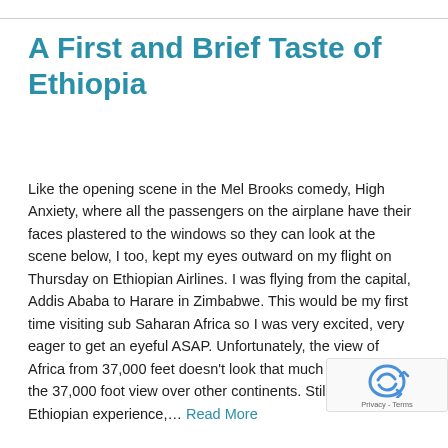A First and Brief Taste of Ethiopia
Like the opening scene in the Mel Brooks comedy, High Anxiety, where all the passengers on the airplane have their faces plastered to the windows so they can look at the scene below, I too, kept my eyes outward on my flight on Thursday on Ethiopian Airlines. I was flying from the capital, Addis Ababa to Harare in Zimbabwe. This would be my first time visiting sub Saharan Africa so I was very excited, very eager to get an eyeful ASAP. Unfortunately, the view of Africa from 37,000 feet doesn't look that much different from the 37,000 foot view over other continents. Still, my Ethiopian experience,… Read More